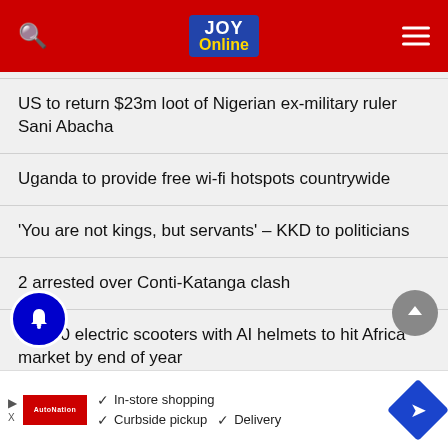Joy Online
US to return $23m loot of Nigerian ex-military ruler Sani Abacha
Uganda to provide free wi-fi hotspots countrywide
'You are not kings, but servants' – KKD to politicians
2 arrested over Conti-Katanga clash
20,000 electric scooters with AI helmets to hit Africa market by end of year
Ol...